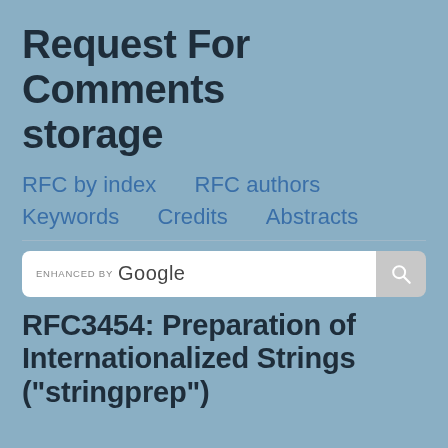Request For Comments storage
RFC by index
RFC authors
Keywords
Credits
Abstracts
[Figure (screenshot): Google custom search bar with 'ENHANCED BY Google' label and a search button with magnifying glass icon]
RFC3454: Preparation of Internationalized Strings ("stringprep")